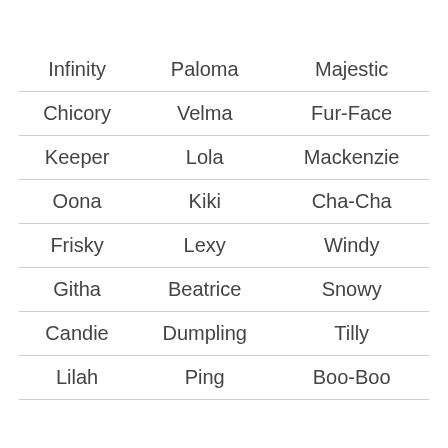| Infinity | Paloma | Majestic |
| Chicory | Velma | Fur-Face |
| Keeper | Lola | Mackenzie |
| Oona | Kiki | Cha-Cha |
| Frisky | Lexy | Windy |
| Githa | Beatrice | Snowy |
| Candie | Dumpling | Tilly |
| Lilah | Ping | Boo-Boo |